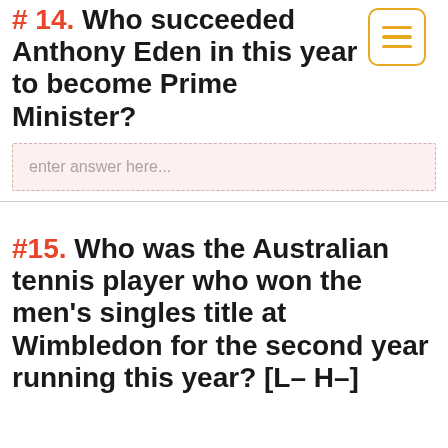#14. Who succeeded Anthony Eden in this year to become Prime Minister?
enter answer here...
#15. Who was the Australian tennis player who won the men's singles title at Wimbledon for the second year running this year? [L– H–]